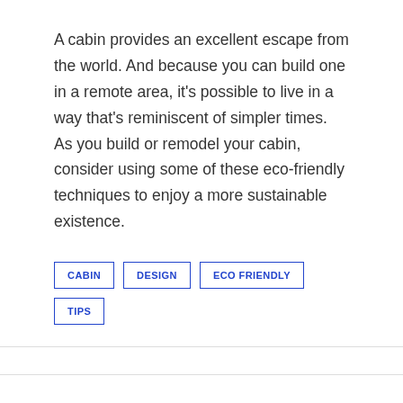A cabin provides an excellent escape from the world. And because you can build one in a remote area, it's possible to live in a way that's reminiscent of simpler times. As you build or remodel your cabin, consider using some of these eco-friendly techniques to enjoy a more sustainable existence.
CABIN
DESIGN
ECO FRIENDLY
TIPS
« 5 Reasons Homemade Toilet Paper is the Environmentally-Friendly Answer